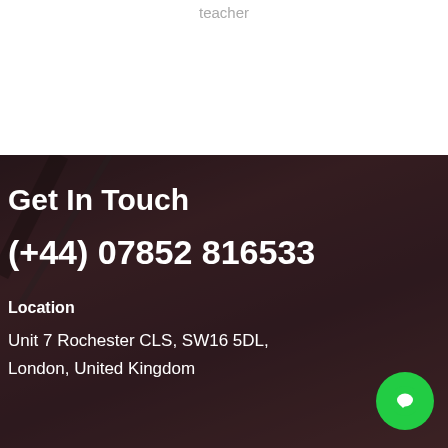teacher
Get In Touch
(+44) 07852 816533
Location
Unit 7 Rochester CLS, SW16 5DL, London, United Kingdom